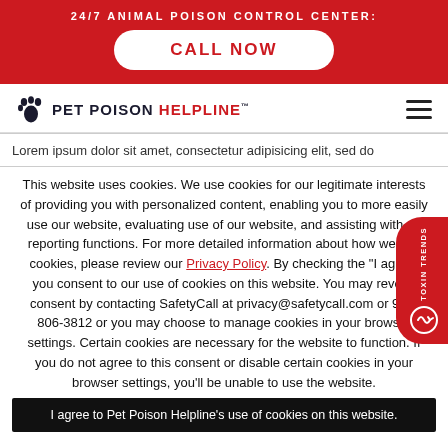24/7 ANIMAL POISON CONTROL CENTER: CALL NOW
[Figure (logo): Pet Poison Helpline logo with paw print icon]
Lorem ipsum dolor sit amet, consectetur adipisicing elit, sed do
This website uses cookies. We use cookies for our legitimate interests of providing you with personalized content, enabling you to more easily use our website, evaluating use of our website, and assisting with ad reporting functions. For more detailed information about how we use cookies, please review our Privacy Policy. By checking the "I agree" you consent to our use of cookies on this website. You may revoke consent by contacting SafetyCall at privacy@safetycall.com or 952-806-3812 or you may choose to manage cookies in your browser settings. Certain cookies are necessary for the website to function. If you do not agree to this consent or disable certain cookies in your browser settings, you'll be unable to use the website.
I agree to Pet Poison Helpline's use of cookies on this website.